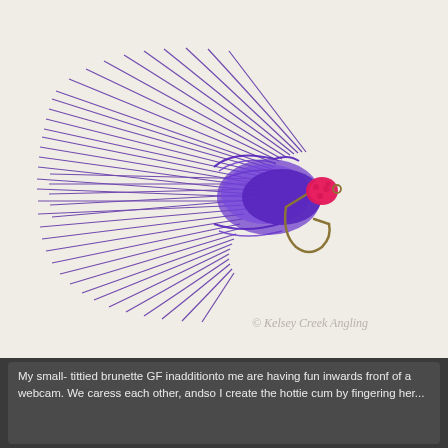[Figure (photo): A purple woolly bugger / marabou streamer fishing fly with a bright pink/red chenille head and gold hook, photographed against a cream/off-white background. The fly has long flowing purple feather fibers extending to the left and upward, forming a large tail and collar. A copyright watermark reads '© Kelsey Creek Angling' in the lower right of the photo.]
My small- tittied brunette GF inadditionto me are having fun inwards fronf of a webcam. We caress each other, andso I create the hottie cum by fingering her...